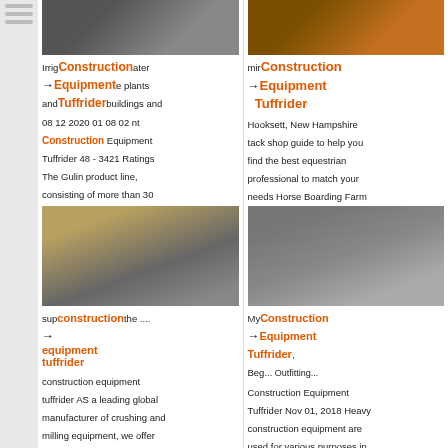[Figure (photo): Construction equipment photo top left]
[Figure (photo): Construction/industrial photo top right]
Construction Equipment Tuffrider
Irrigation water plants and buildings and 08 12 2020 01 08 02 Construction Equipment Tuffrider 48 - 3421 Ratings The Gulin product line, consisting of more than 30
Construction Equipment Tuffrider
Hooksett, New Hampshire tack shop guide to help you find the best equestrian professional to match your needs Horse Boarding Farm
[Figure (photo): Construction lattice/scaffolding photo mid left]
[Figure (photo): Industrial silo/tank structure photo mid right]
supply construction the ....
construction equipment tuffrider
My Construction Equipment Tuffrider, Beg... Outfitting...
Construction Equipment Tuffrider
construction equipment tuffrider AS a leading global manufacturer of crushing and milling equipment, we offer advanced, rational solutions
Construction Equipment Tuffrider Nov 01, 2018 Heavy construction equipment are used for various purposes in large projects Selection of
[Figure (photo): Bottom left photo]
[Figure (photo): Bottom right photo]